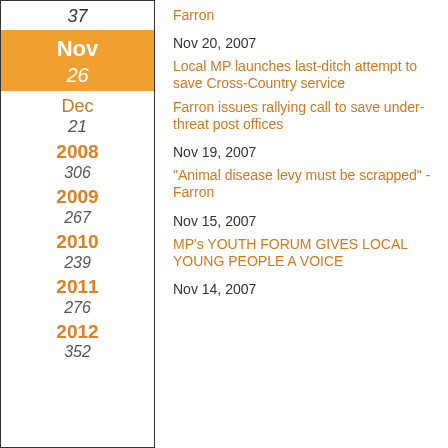37
Nov 26
Dec 21
2008
306
2009
267
2010
239
2011
276
2012
352
Farron
Nov 20, 2007
Local MP launches last-ditch attempt to save Cross-Country service
Farron issues rallying call to save under-threat post offices
Nov 19, 2007
"Animal disease levy must be scrapped" - Farron
Nov 15, 2007
MP's YOUTH FORUM GIVES LOCAL YOUNG PEOPLE A VOICE
Nov 14, 2007